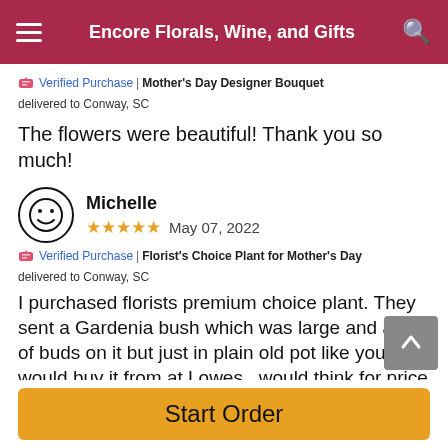Encore Florals, Wine, and Gifts
Verified Purchase | Mother's Day Designer Bouquet delivered to Conway, SC
The flowers were beautiful! Thank you so much!
Michelle  ★★★★★  May 07, 2022
Verified Purchase | Florist's Choice Plant for Mother's Day delivered to Conway, SC
I purchased florists premium choice plant. They sent a Gardenia bush which was large and alot of buds on it but just in plain old pot like you would buy it from at Lowes...would think for price they could wrap pot or
Start Order